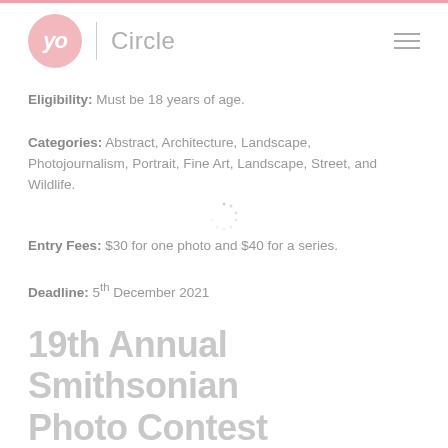yo Circle
Eligibility: Must be 18 years of age.
Categories: Abstract, Architecture, Landscape, Photojournalism, Portrait, Fine Art, Landscape, Street, and Wildlife.
Entry Fees: $30 for one photo and $40 for a series.
Deadline: 5th December 2021
19th Annual Smithsonian Photo Contest